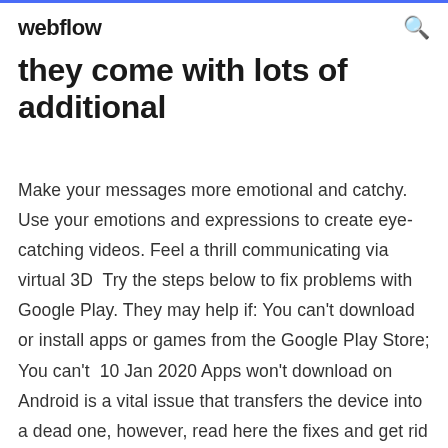webflow
they come with lots of additional
Make your messages more emotional and catchy. Use your emotions and expressions to create eye-catching videos. Feel a thrill communicating via virtual 3D  Try the steps below to fix problems with Google Play. They may help if: You can't download or install apps or games from the Google Play Store; You can't  10 Jan 2020 Apps won't download on Android is a vital issue that transfers the device into a dead one, however, read here the fixes and get rid of the issue  Hello, I have the ARemoji app on my samsung s10+ installed. version 3.0.0.25 this app is installed on the